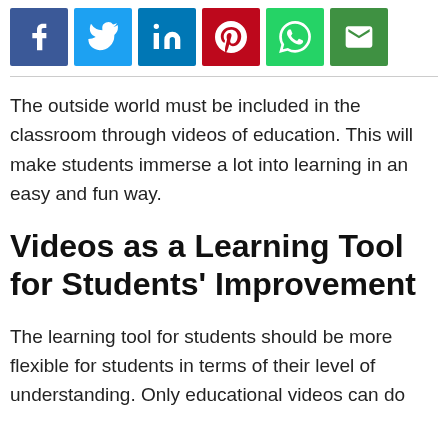[Figure (other): Social media sharing icons: Facebook (blue), Twitter (light blue), LinkedIn (blue), Pinterest (red), WhatsApp (green), Email (green)]
The outside world must be included in the classroom through videos of education. This will make students immerse a lot into learning in an easy and fun way.
Videos as a Learning Tool for Students’ Improvement
The learning tool for students should be more flexible for students in terms of their level of understanding. Only educational videos can do